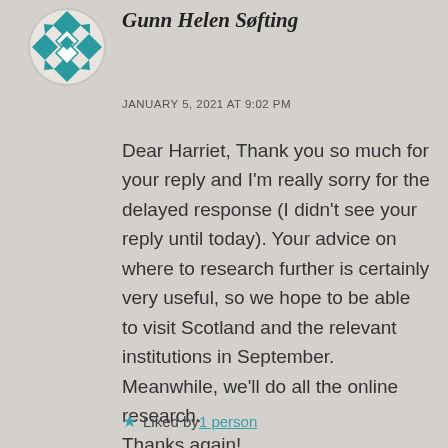[Figure (logo): Circular avatar with teal geometric diamond/cross pattern on white background]
Gunn Helen Søfting
JANUARY 5, 2021 AT 9:02 PM
Dear Harriet, Thank you so much for your reply and I'm really sorry for the delayed response (I didn't see your reply until today). Your advice on where to research further is certainly very useful, so we hope to be able to visit Scotland and the relevant institutions in September. Meanwhile, we'll do all the online research.
Thanks again!
★ Liked by 1 person